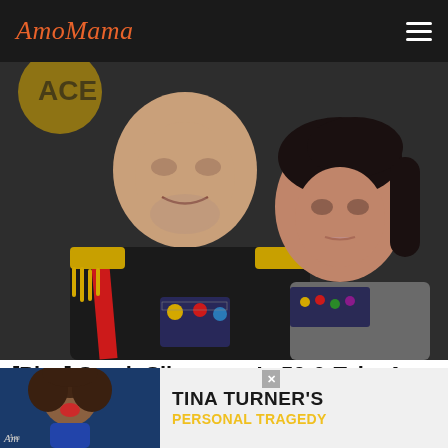AmoMama
[Figure (photo): Two people posing together. A bald man wearing a black military-style uniform with gold epaulettes, red sash, and medals, leaning close to a dark-haired woman in a grey top. Dark background.]
[Pics] Sarah Silverman Is 50 & Take A Look At Her Net Worth
Tachnik
[Figure (photo): Advertisement banner showing a woman with big hair and text: TINA TURNER'S PERSONAL TRAGEDY]